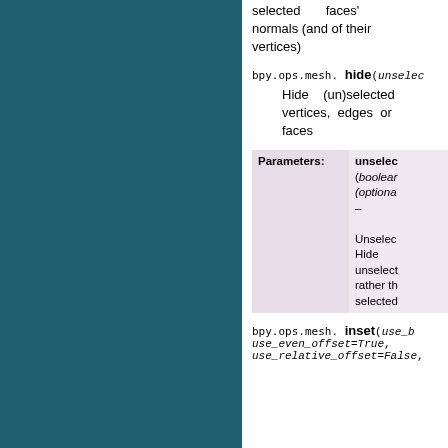selected faces' normals (and of their vertices)
bpy.ops.mesh.hide(unselected) Hide (un)selected vertices, edges or faces
| Parameters: | unselected (boolean, (optional) – Unselected, Hide unselected rather than selected |
| --- | --- |
bpy.ops.mesh.inset(use_b use_even_offset=True, use_relative_offset=False,